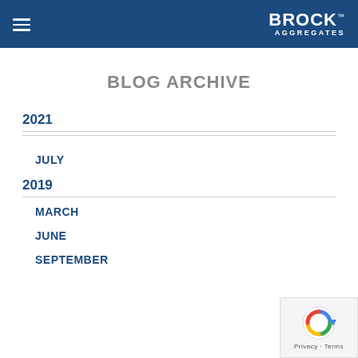BROCK AGGREGATES
BLOG ARCHIVE
2021
JULY
2019
MARCH
JUNE
SEPTEMBER